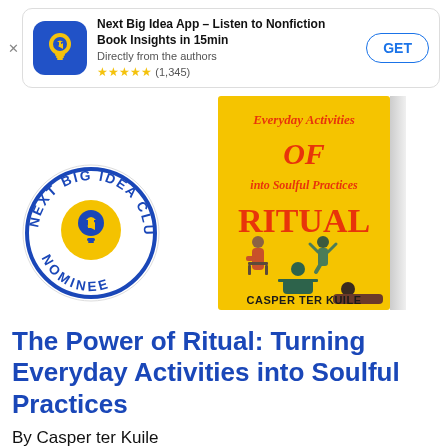[Figure (screenshot): App store banner for Next Big Idea App with icon, title, rating, and GET button]
[Figure (photo): Book cover of 'The Power of Ritual: Turning Everyday Activities into Soulful Practices' by Casper ter Kuile, yellow cover with illustrated people doing various activities, with Next Big Idea Club Nominee badge overlaid]
The Power of Ritual: Turning Everyday Activities into Soulful Practices
By Casper ter Kuile